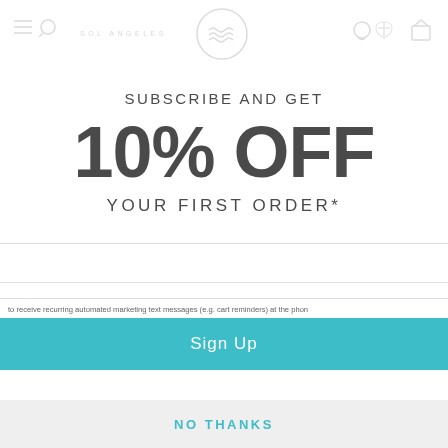[Figure (screenshot): Sol Angeles website header with logo (circle with waves), navigation icons, and an email subscription bar in the background]
SUBSCRIBE AND GET
10% OFF
YOUR FIRST ORDER*
to receive recurring automated marketing text messages (e.g. cart reminders) at the phone provided. Consent is not a condition to purchase. Msg & data rates may apply. Msg frequency reply HELP for help and STOP to cancel. View our Terms of Service and Privacy Policy.
Sign Up
NO THANKS